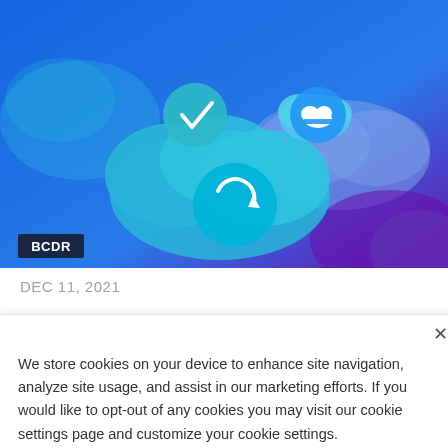[Figure (illustration): Blue gradient hero image with cloud icons, a checkmark circle, a cloud icon, and a refresh/restore circle icon, representing BCDR (Business Continuity and Disaster Recovery). A dark navy tag with 'BCDR' text is in the lower left.]
DEC 11, 2021
We store cookies on your device to enhance site navigation, analyze site usage, and assist in our marketing efforts. If you would like to opt-out of any cookies you may visit our cookie settings page and customize your cookie settings.